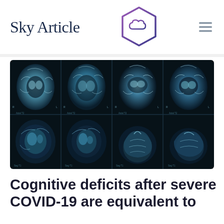Sky Article
[Figure (photo): Multiple brain MRI scan slices arranged in a grid on a dark background, showing axial and sagittal views of the brain in blue-tinted imaging]
Cognitive deficits after severe COVID-19 are equivalent to